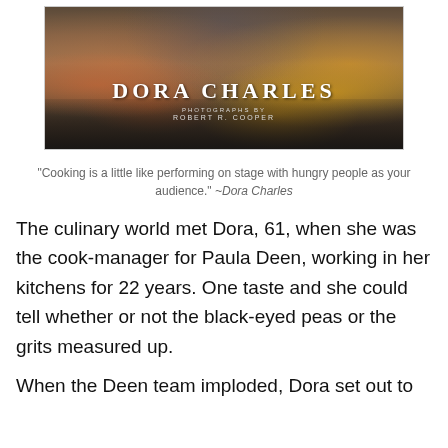[Figure (photo): Book cover showing Dora Charles cooking, with text 'DORA CHARLES' and 'PHOTOGRAPHS BY ROBERT R. COOPER']
“Cooking is a little like performing on stage with hungry people as your audience.” ~Dora Charles
The culinary world met Dora, 61, when she was the cook-manager for Paula Deen, working in her kitchens for 22 years. One taste and she could tell whether or not the black-eyed peas or the grits measured up.
When the Deen team imploded, Dora set out to preserve her family’s cherished traditions